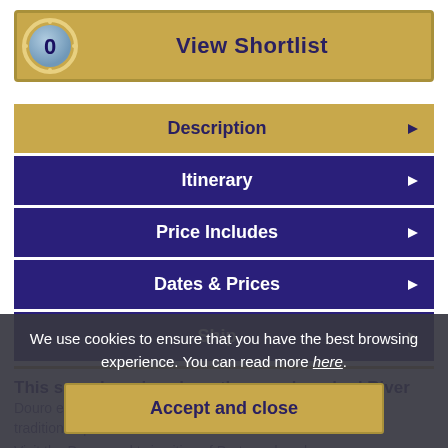[Figure (other): View Shortlist button with badge showing 0]
Description
Itinerary
Price Includes
Dates & Prices
Ship
This superb cruise along the sun-drenched River Douro explores the heart of Port wine country with visits to traditional quintas.
Visit the Douro and twin cities of Porto and explore
We use cookies to ensure that you have the best browsing experience. You can read more here.
Accept and close